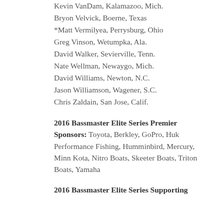Kevin VanDam, Kalamazoo, Mich.
Bryon Velvick, Boerne, Texas
*Matt Vermilyea, Perrysburg, Ohio
Greg Vinson, Wetumpka, Ala.
David Walker, Sevierville, Tenn.
Nate Wellman, Newaygo, Mich.
David Williams, Newton, N.C.
Jason Williamson, Wagener, S.C.
Chris Zaldain, San Jose, Calif.
2016 Bassmaster Elite Series Premier Sponsors: Toyota, Berkley, GoPro, Huk Performance Fishing, Humminbird, Mercury, Minn Kota, Nitro Boats, Skeeter Boats, Triton Boats, Yamaha
2016 Bassmaster Elite Series Supporting